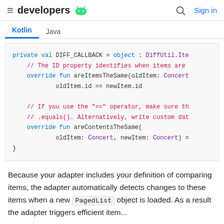≡ developers [android logo] [search] Sign in
Kotlin  Java (tabs)
[Figure (screenshot): Kotlin code snippet showing DIFF_CALLBACK object with areItemsTheSame and areContentsTheSame override functions using DiffUtil.ItemCallback]
Because your adapter includes your definition of comparing items, the adapter automatically detects changes to these items when a new PagedList object is loaded. As a result the adapter triggers efficient item...